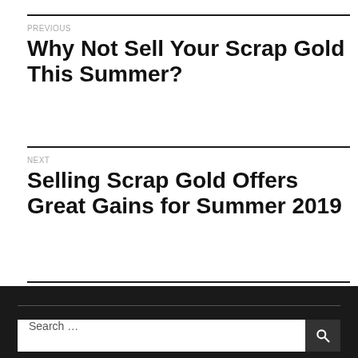PREVIOUS
Why Not Sell Your Scrap Gold This Summer?
NEXT
Selling Scrap Gold Offers Great Gains for Summer 2019
Search ...